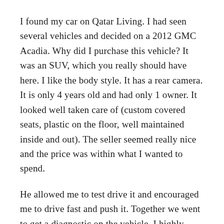I found my car on Qatar Living.  I had seen several vehicles and decided on a 2012 GMC Acadia.  Why did I purchase this vehicle?  It was an SUV, which you really should have here.  I like the body style.  It has a rear camera.  It is only 4 years old and had only 1 owner.  It looked well taken care of (custom covered seats, plastic on the floor, well maintained inside and out).  The seller seemed really nice and the price was within what I wanted to spend.
He allowed me to test drive it and encouraged me to drive fast and push it.  Together we went to get a diagnostic on the vehicle. I highly recommend you do this, if you are thinking of buying a used vehicle.  We went to a German Diagnostic place in Barwa Village.  I